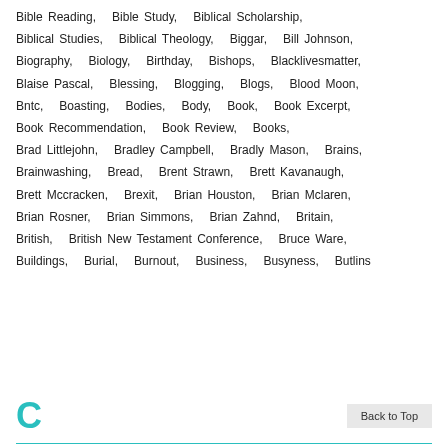Bible Reading,  Bible Study,  Biblical Scholarship,  Biblical Studies,  Biblical Theology,  Biggar,  Bill Johnson,  Biography,  Biology,  Birthday,  Bishops,  Blacklivesmatter,  Blaise Pascal,  Blessing,  Blogging,  Blogs,  Blood Moon,  Bntc,  Boasting,  Bodies,  Body,  Book,  Book Excerpt,  Book Recommendation,  Book Review,  Books,  Brad Littlejohn,  Bradley Campbell,  Bradly Mason,  Brains,  Brainwashing,  Bread,  Brent Strawn,  Brett Kavanaugh,  Brett Mccracken,  Brexit,  Brian Houston,  Brian Mclaren,  Brian Rosner,  Brian Simmons,  Brian Zahnd,  Britain,  British,  British New Testament Conference,  Bruce Ware,  Buildings,  Burial,  Burnout,  Business,  Busyness,  Butlins
C
Back to Top